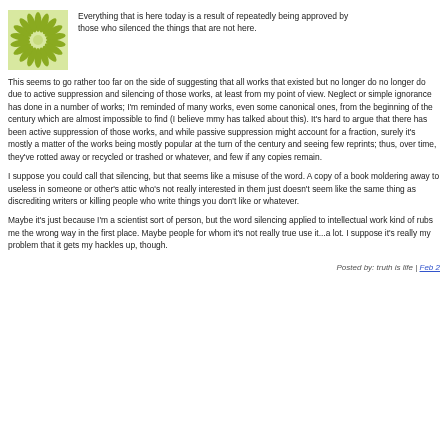[Figure (logo): Green circular/leaf-pattern logo with white background]
Everything that is here today is a result of repeatedly being approved by those who silenced the things that are not here.
This seems to go rather too far on the side of suggesting that all works that existed but no longer do no longer do due to active suppression and silencing of those works, at least from my point of view. Neglect or simple ignorance has done in a number of works; I'm reminded of many works, even some canonical ones, from the beginning of the century which are almost impossible to find (I believe mmy has talked about this). It's hard to argue that there has been active suppression of those works, and while passive suppression might account for a fraction, surely it's mostly a matter of the works being mostly popular at the turn of the century and seeing few reprints; thus, over time, they've rotted away or recycled or trashed or whatever, and few if any copies remain.
I suppose you could call that silencing, but that seems like a misuse of the word. A copy of a book moldering away to useless in someone or other's attic who's not really interested in them just doesn't seem like the same thing as discrediting writers or killing people who write things you don't like or whatever.
Maybe it's just because I'm a scientist sort of person, but the word silencing applied to intellectual work kind of rubs me the wrong way in the first place. Maybe people for whom it's not really true use it...a lot. I suppose it's really my problem that it gets my hackles up, though.
Posted by: truth is life | Feb 2